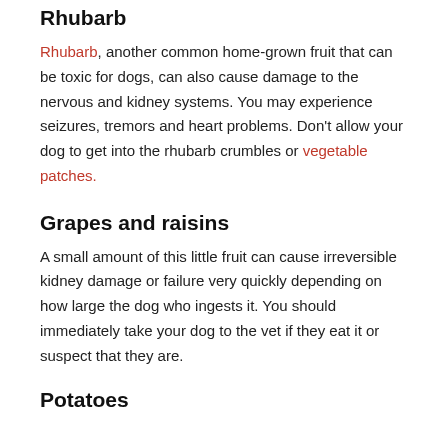Rhubarb
Rhubarb, another common home-grown fruit that can be toxic for dogs, can also cause damage to the nervous and kidney systems. You may experience seizures, tremors and heart problems. Don't allow your dog to get into the rhubarb crumbles or vegetable patches.
Grapes and raisins
A small amount of this little fruit can cause irreversible kidney damage or failure very quickly depending on how large the dog who ingests it. You should immediately take your dog to the vet if they eat it or suspect that they are.
Potatoes